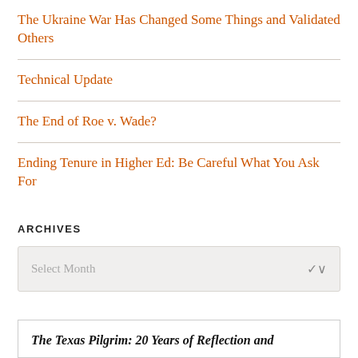The Ukraine War Has Changed Some Things and Validated Others
Technical Update
The End of Roe v. Wade?
Ending Tenure in Higher Ed: Be Careful What You Ask For
ARCHIVES
Select Month
The Texas Pilgrim: 20 Years of Reflection and